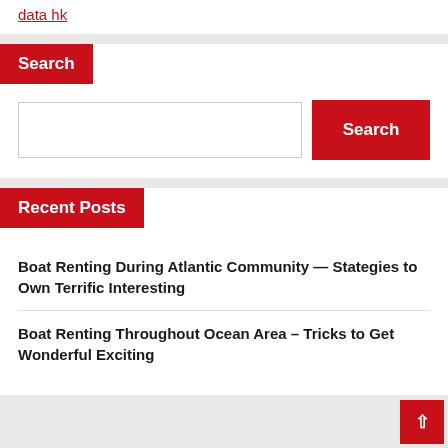data hk
Search
Search
Recent Posts
Boat Renting During Atlantic Community — Stategies to Own Terrific Interesting
Boat Renting Throughout Ocean Area – Tricks to Get Wonderful Exciting